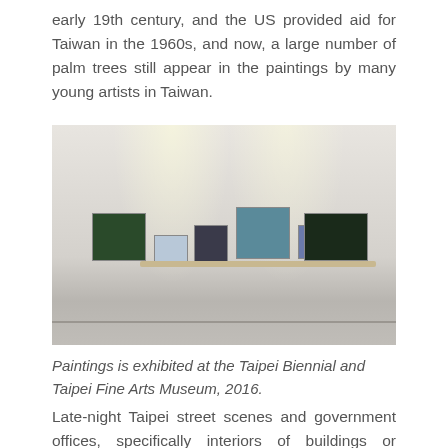early 19th century, and the US provided aid for Taiwan in the 1960s, and now, a large number of palm trees still appear in the paintings by many young artists in Taiwan.
[Figure (photo): Gallery installation view showing multiple small paintings hung on a white wall, some on a wooden shelf, in a museum setting.]
Paintings is exhibited at the Taipei Biennial and Taipei Fine Arts Museum, 2016.
Late-night Taipei street scenes and government offices, specifically interiors of buildings or exterior plants and